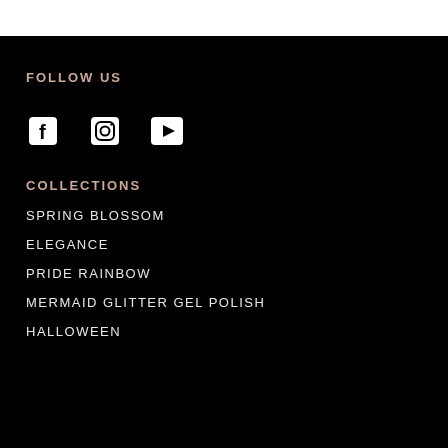FOLLOW US
[Figure (illustration): Three social media icons: Facebook (f), Instagram (camera), YouTube (play button triangle)]
COLLECTIONS
SPRING BLOSSOM
ELEGANCE
PRIDE RAINBOW
MERMAID GLITTER GEL POLISH
HALLOWEEN